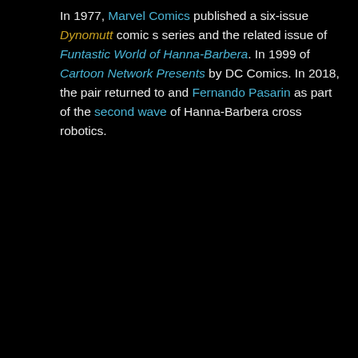In 1977, Marvel Comics published a six-issue Dynomutt comic series and the related issue of Funtastic World of Hanna-Barbera. In 1999 of Cartoon Network Presents by DC Comics. In 2018, the pair returned to and Fernando Pasarin as part of the second wave of Hanna-Barbera cross robotics.
[Figure (illustration): Scooby-Doo and Dynomutt comic/DVD cover from Hanna-Barbera Gold collection, showing Dynomutt (green robot dog) and Scooby-Doo characters against a cityscape background with lightning, with title text 'THE SCOOBY- DYNOM THE COMPLETE' visible]